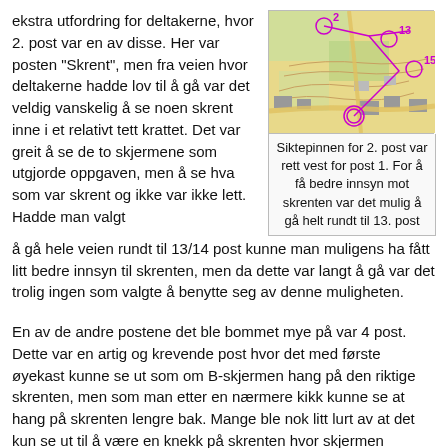ekstra utfordring for deltakerne, hvor 2. post var en av disse. Her var posten "Skrent", men fra veien hvor deltakerne hadde lov til å gå var det veldig vanskelig å se noen skrent inne i et relativt tett krattet. Det var greit å se de to skjermene som utgjorde oppgaven, men å se hva som var skrent og ikke var ikke lett. Hadde man valgt å gå hele veien rundt til 13/14 post kunne man muligens ha fått litt bedre innsyn til skrenten, men da dette var langt å gå var det trolig ingen som valgte å benytte seg av denne muligheten.
[Figure (map): Orienteering map excerpt showing control points numbered 2, 13, 15 and others, with magenta circles and lines indicating routes. Terrain shown with yellow, green, and brown colors typical of orienteering maps.]
Siktepinnen for 2. post var rett vest for post 1. For å få bedre innsyn mot skrenten var det mulig å gå helt rundt til 13. post
En av de andre postene det ble bommet mye på var 4 post. Dette var en artig og krevende post hvor det med første øyekast kunne se ut som om B-skjermen hang på den riktige skrenten, men som man etter en nærmere kikk kunne se at hang på skrenten lengre bak. Mange ble nok litt lurt av at det kun se ut til å være en knekk på skrenten hvor skjermen